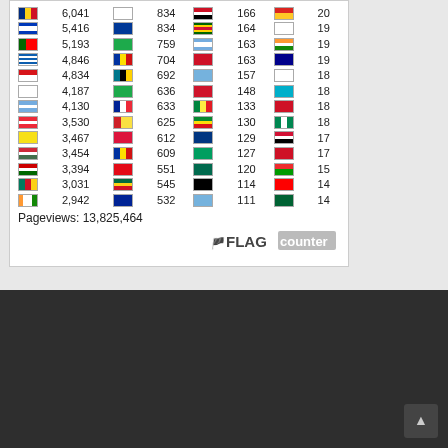| Flag | Count | Flag | Count | Flag | Count | Flag | Count |
| --- | --- | --- | --- | --- | --- | --- | --- |
| Romania | 6,041 | Georgia | 834 | Egypt | 166 | Timor-Leste | 20 |
| Israel | 5,416 | Iceland | 834 | Zimbabwe | 164 | Greenland | 19 |
| Portugal | 5,193 | Turkmenistan | 759 | Argentina | 163 | India | 19 |
| Greece | 4,846 | unknown | 704 | crossed | 163 | Australia | 19 |
| Czech Rep. | 4,834 | Bahamas | 692 | Micronesia | 157 | Faroe Is. | 18 |
| Finland | 4,187 | Turkmenistan | 636 | Isle of Man | 148 | Kazakhstan | 18 |
| Argentina | 4,130 | France | 633 | Senegal | 133 | Burundi | 18 |
| Austria | 3,530 | North Macedonia | 625 | Ethiopia | 130 | Nigeria | 18 |
| Brunei | 3,467 | Nepal | 612 | Namibia | 129 | Sudan | 17 |
| Hungary | 3,454 | Andorra | 609 | St. Kitts | 127 | Burundi | 17 |
| Tajikistan | 3,394 | Turkey | 551 | Bangladesh | 120 | Burkina Faso | 15 |
| Cameroon | 3,031 | Ghana | 545 | Papua NG | 114 | Taiwan | 14 |
| Sri Lanka | 2,942 | Bosnia | 532 | Micronesia2 | 111 | Mauritania | 14 |
Pageviews: 13,825,464
[Figure (logo): FLAG counter logo]